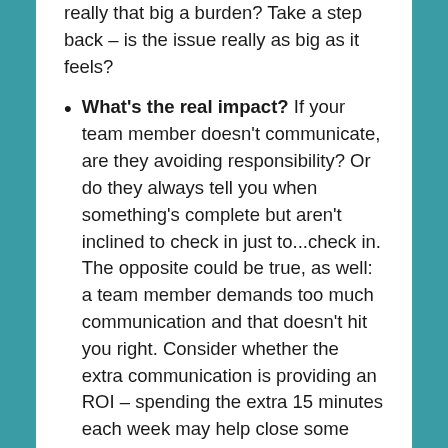really that big a burden? Take a step back – is the issue really as big as it feels?
What's the real impact? If your team member doesn't communicate, are they avoiding responsibility? Or do they always tell you when something's complete but aren't inclined to check in just to...check in. The opposite could be true, as well: a team member demands too much communication and that doesn't hit you right. Consider whether the extra communication is providing an ROI – spending the extra 15 minutes each week may help close some items faster, with fewer issues.
At the end of the day, each stakeholder on